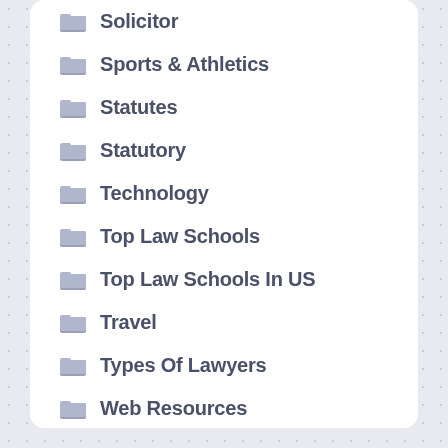Solicitor
Sports & Athletics
Statutes
Statutory
Technology
Top Law Schools
Top Law Schools In US
Travel
Types Of Lawyers
Web Resources
What Is The Law